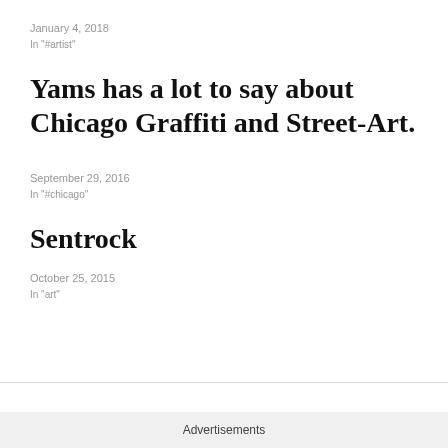January 4, 2018
In "#artist"
Yams has a lot to say about Chicago Graffiti and Street-Art.
September 29, 2016
In "#chicago"
Sentrock
October 25, 2015
In "art"
Advertisements